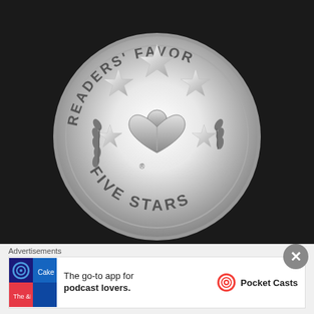[Figure (logo): Readers' Favorite Five Stars silver medal award seal, showing a person reading a book in a heart shape, surrounded by five stars, with 'READERS' FAVORITE' text arched at top and 'FIVE STARS' at bottom. Registered trademark symbol visible.]
Advertisements
[Figure (infographic): Pocket Casts advertisement banner: 'The go-to app for podcast lovers.' with Pocket Casts logo on the right, and a colorful app icon grid on the left.]